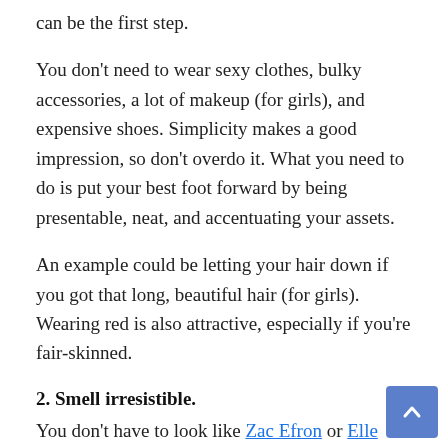can be the first step.
You don’t need to wear sexy clothes, bulky accessories, a lot of makeup (for girls), and expensive shoes. Simplicity makes a good impression, so don’t overdo it. What you need to do is put your best foot forward by being presentable, neat, and accentuating your assets.
An example could be letting your hair down if you got that long, beautiful hair (for girls). Wearing red is also attractive, especially if you’re fair-skinned.
2. Smell irresistible.
You don’t have to look like Zac Efron or Elle Fanning to be attractive. Your scent can play a